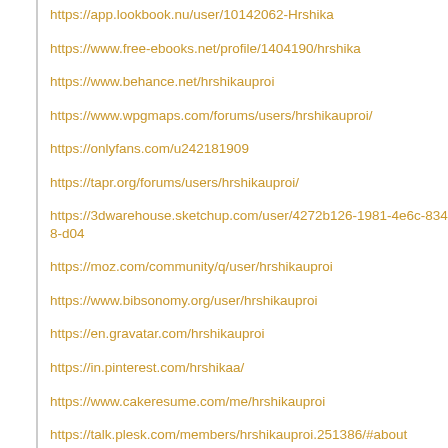https://app.lookbook.nu/user/10142062-Hrshika
https://www.free-ebooks.net/profile/1404190/hrshika
https://www.behance.net/hrshikauproi
https://www.wpgmaps.com/forums/users/hrshikauproi/
https://onlyfans.com/u242181909
https://tapr.org/forums/users/hrshikauproi/
https://3dwarehouse.sketchup.com/user/4272b126-1981-4e6c-8348-d04
https://moz.com/community/q/user/hrshikauproi
https://www.bibsonomy.org/user/hrshikauproi
https://en.gravatar.com/hrshikauproi
https://in.pinterest.com/hrshikaa/
https://www.cakeresume.com/me/hrshikauproi
https://talk.plesk.com/members/hrshikauproi.251386/#about
https://www.blackhatworld.com/members/hrshikauproi.1614159/#about
https://www.namecheida.com/forums/profile/107624-hrshikauproi/2tab...